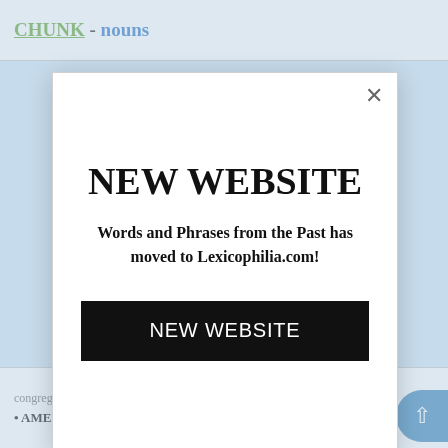CHUNK - nouns
NEW WEBSITE
Words and Phrases from the Past has moved to Lexicophilia.com!
NEW WEBSITE
congregation held 68 Chair of
AMEN CORNER 1. the front seats in a church, on